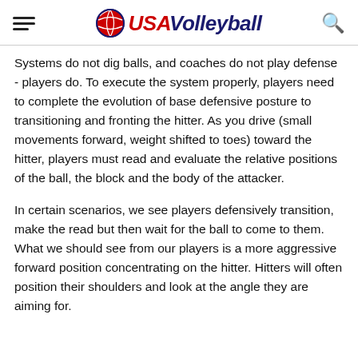USA Volleyball
Systems do not dig balls, and coaches do not play defense - players do. To execute the system properly, players need to complete the evolution of base defensive posture to transitioning and fronting the hitter. As you drive (small movements forward, weight shifted to toes) toward the hitter, players must read and evaluate the relative positions of the ball, the block and the body of the attacker.
In certain scenarios, we see players defensively transition, make the read but then wait for the ball to come to them. What we should see from our players is a more aggressive forward position concentrating on the hitter. Hitters will often position their shoulders and look at the angle they are aiming for.